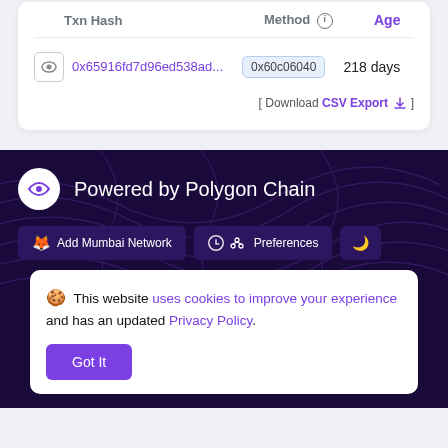|  | Txn Hash | Method | Age |
| --- | --- | --- | --- |
| [eye] | 0x65916fd7d96ed538ad... | 0x60c06040 | 218 days |
[ Download CSV Export ]
[Figure (logo): Polygon Chain logo with infinity-like symbol in white circle]
Powered by Polygon Chain
Add Mumbai Network   Preferences   [moon icon]
This website uses cookies to improve your experience and has an updated Privacy Policy. Got It